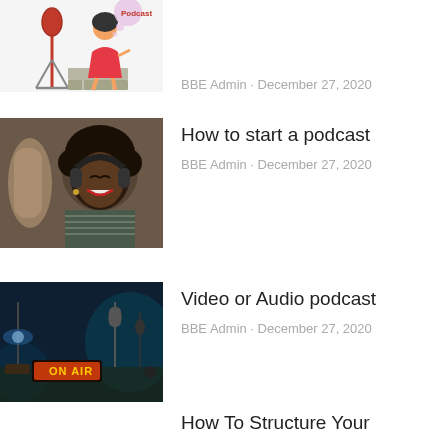[Figure (illustration): Cartoon illustration of a woman in a red dress sitting on bricks next to a podcast microphone stand, with a thought bubble above her head]
BBE Admin · December 27, 2020
[Figure (photo): Photo of a Black woman wearing headphones and smiling, sitting near a microphone in a recording setting]
How to start a podcast
BBE Admin · December 27, 2020
[Figure (photo): Dark photo of a radio studio with an ON AIR sign lit up in orange, microphone, and lamp visible]
Video or Audio podcast
BBE Admin · December 27, 2020
How To Structure Your